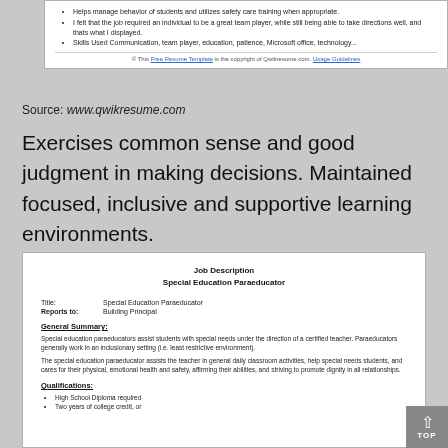[Figure (screenshot): Top portion of a resume document showing bullet points about managing student behavior, teamwork, and skills used. Includes a copyright notice for Free Resume Template from Qwikresume.com with Usage Guidelines link.]
Source: www.qwikresume.com
Exercises common sense and good judgment in making decisions. Maintained focused, inclusive and supportive learning environments.
[Figure (screenshot): Job Description for Special Education Paraeducator. Title: Special Education Paraeducator. Reports to: Building Principal. General Summary: Special education paraeducators assist students with special needs under the direction of a certified teacher. Paraeducators generally work in an inclusionary setting (i.e. least restrictive environment). The special education paraeducator assists the teacher in general daily classroom activities, help special needs students, and cares for their physical, emotional health and safety, affirming their abilities, and striving to promote dignity in all relationships. Qualifications: High School Diploma required; Two years of college credit, or...]